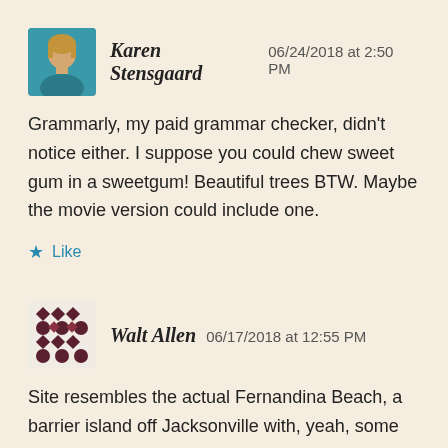[Figure (photo): Avatar photo of Karen Stensgaard, a woman with blonde hair wearing a teal top]
Karen Stensgaard   06/24/2018 at 2:50 PM
Grammarly, my paid grammar checker, didn't notice either. I suppose you could chew sweet gum in a sweetgum! Beautiful trees BTW. Maybe the movie version could include one.
★ Like
[Figure (illustration): Avatar icon for Walt Allen, a quilt-style geometric pattern in dark red/maroon on light background]
Walt Allen   06/17/2018 at 12:55 PM
Site resembles the actual Fernandina Beach, a barrier island off Jacksonville with, yeah, some Key West tossed in. Wish Grisham could spell sweetgum the